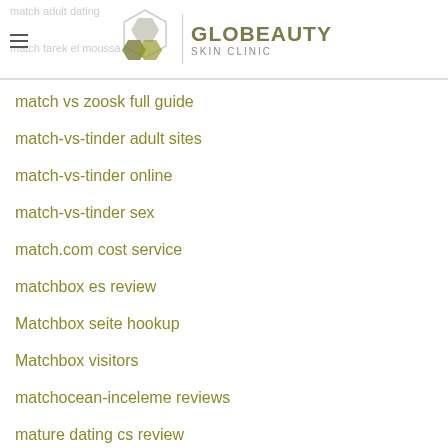GLOBEAUTY SKIN CLINIC
match vs zoosk full guide
match-vs-tinder adult sites
match-vs-tinder online
match-vs-tinder sex
match.com cost service
matchbox es review
Matchbox seite hookup
Matchbox visitors
matchocean-inceleme reviews
mature dating cs review
Mature Quality Singles bewertung hook up